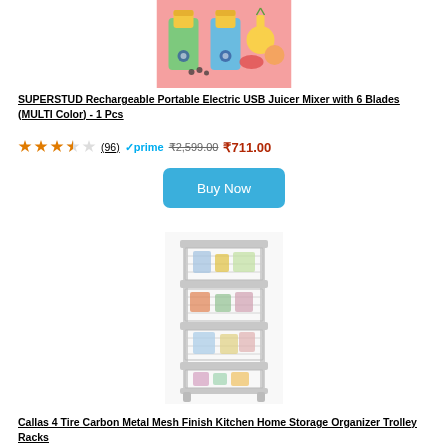[Figure (photo): Two green rechargeable portable USB juicer blenders with orange and fruit in background]
SUPERSTUD Rechargeable Portable Electric USB Juicer Mixer with 6 Blades (MULTI Color) - 1 Pcs
3.5 stars (96) Prime ₹2,599.00 ₹711.00
Buy Now
[Figure (photo): 4-tier white metal mesh kitchen storage organizer trolley rack with items on shelves]
Callas 4 Tire Carbon Metal Mesh Finish Kitchen Home Storage Organizer Trolley Racks